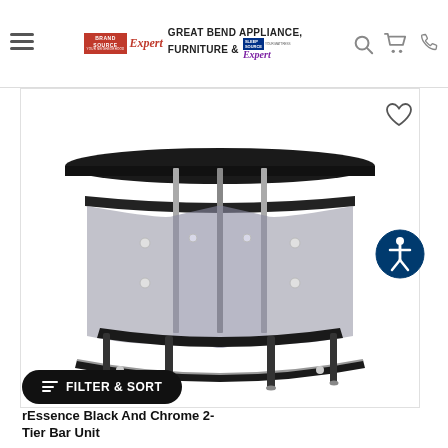Great Bend Appliance, Furniture & Sleep Source — navigation header with hamburger menu, logo, search, cart, and phone icons
[Figure (photo): A black and chrome 2-tier curved bar unit with smoked glass panels, chrome accents, and a footrest rail, displayed on white background]
FILTER & SORT
rEssence Black And Chrome 2-Tier Bar Unit